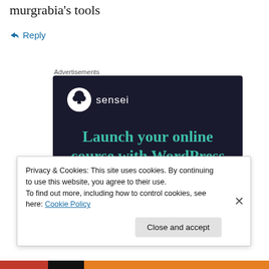murgrabia's tools
↪ Reply
Advertisements
[Figure (screenshot): Sensei advertisement: dark background with sensei logo (tree icon in white circle), teal headline 'Launch your online course with WordPress', and a teal 'Learn More' rounded button.]
Privacy & Cookies: This site uses cookies. By continuing to use this website, you agree to their use.
To find out more, including how to control cookies, see here: Cookie Policy
Close and accept